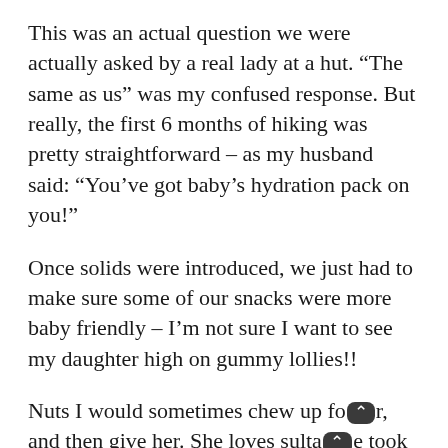This was an actual question we were actually asked by a real lady at a hut. “The same as us” was my confused response. But really, the first 6 months of hiking was pretty straightforward – as my husband said: “You’ve got baby’s hydration pack on you!”
Once solids were introduced, we just had to make sure some of our snacks were more baby friendly – I’m not sure I want to see my daughter high on gummy lollies!!
Nuts I would sometimes chew up for her, and then give her. She loves sultanas. We took fresh apples & capsicums.